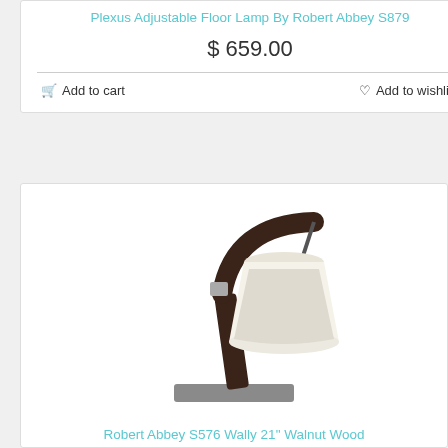Plexus Adjustable Floor Lamp By Robert Abbey S879
$ 659.00
🛒 Add to cart
♡ Add to wishlist
[Figure (photo): A modern desk lamp with a dark walnut wood arc arm and brushed nickel base, with a white fabric drum shade hanging from the top of the arm.]
Robert Abbey S576 Wally 21" Walnut Wood